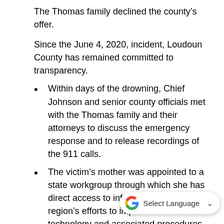The Thomas family declined the county’s offer.
Since the June 4, 2020, incident, Loudoun County has remained committed to transparency.
Within days of the drowning, Chief Johnson and senior county officials met with the Thomas family and their attorneys to discuss the emergency response and to release recordings of the 911 calls.
The victim’s mother was appointed to a state workgroup through which she has direct access to information about the region’s efforts to improve 911 call technology and associated procedures, as well as to influence future efforts by the region’s emergency response organizations.
The victim’s family received multiple oral and email updates from Loudoun County officials over 16 months regarding the county’s efforts to improve its policies and procedures.
The county published the Perdido Significant Incident Review online on August 31, 2020, and System Chief Johnson and staff presented it to